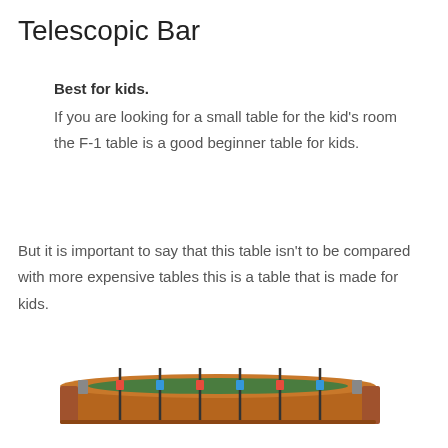Telescopic Bar
Best for kids.
If you are looking for a small table for the kid's room the F-1 table is a good beginner table for kids.
But it is important to say that this table isn't to be compared with more expensive tables this is a table that is made for kids.
[Figure (photo): Photo of a foosball table (tabletop soccer game) viewed from a slight angle, brown wooden construction with colorful player figures on rods.]